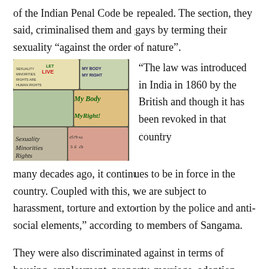of the Indian Penal Code be repealed. The section, they said, criminalised them and gays by terming their sexuality “against the order of nature”.
[Figure (photo): Protest signs reading 'My Body My Right', 'Sexuality Minorities Rights Are Human Rights', 'My Body MyRight!', 'Sexuality Minorities Rights', with text in English and Kannada script.]
“The law was introduced in India in 1860 by the British and though it has been revoked in that country many decades ago, it continues to be in force in the country. Coupled with this, we are subject to harassment, torture and extortion by the police and anti-social elements,” according to members of Sangama.
They were also discriminated against in terms of housing, employment, property, marriage, adoption, and insurance as the Indian law did not recognise homo-bisexuals. Hence, they were deprived of education, housing, health care, ration cards, passports, voters ID cards, etc. In